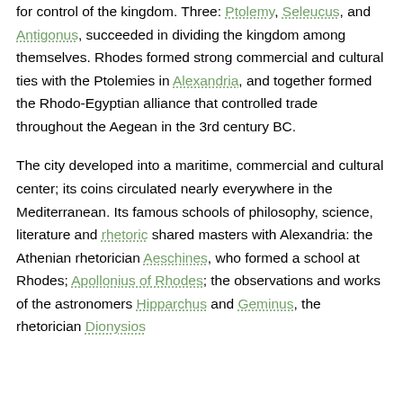for control of the kingdom. Three: Ptolemy, Seleucus, and Antigonus, succeeded in dividing the kingdom among themselves. Rhodes formed strong commercial and cultural ties with the Ptolemies in Alexandria, and together formed the Rhodo-Egyptian alliance that controlled trade throughout the Aegean in the 3rd century BC.

The city developed into a maritime, commercial and cultural center; its coins circulated nearly everywhere in the Mediterranean. Its famous schools of philosophy, science, literature and rhetoric shared masters with Alexandria: the Athenian rhetorician Aeschines, who formed a school at Rhodes; Apollonius of Rhodes; the observations and works of the astronomers Hipparchus and Geminus, the rhetorician Dionysios